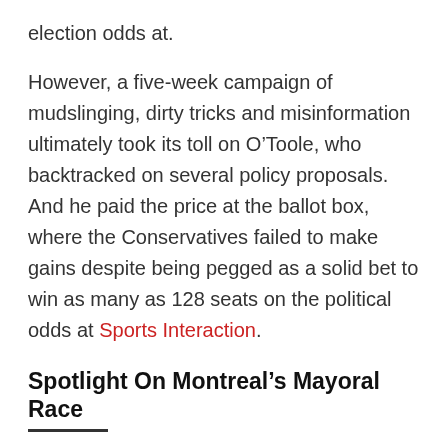election odds at.
However, a five-week campaign of mudslinging, dirty tricks and misinformation ultimately took its toll on O’Toole, who backtracked on several policy proposals. And he paid the price at the ballot box, where the Conservatives failed to make gains despite being pegged as a solid bet to win as many as 128 seats on the political odds at Sports Interaction.
Spotlight On Montreal’s Mayoral Race